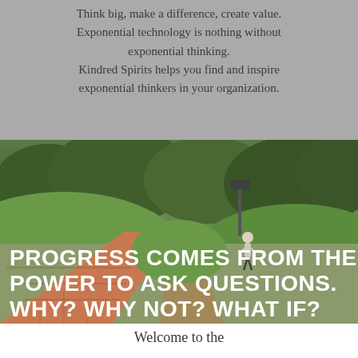Think big, make a difference, create value. Exponential technology is nothing without exponential thinking. Kindred Spirits helps you find and inspire exponential thinkers in your organization.
[Figure (photo): A person walking up a grassy hill path at a fork in the road, with red brick pathway to the left and a dirt trail to the right, green trees in the background. Overlaid white bold text reads: PROGRESS COMES FROM THE POWER TO ASK QUESTIONS. WHY? WHY NOT? WHAT IF?]
Welcome to the Kindred Spirits...